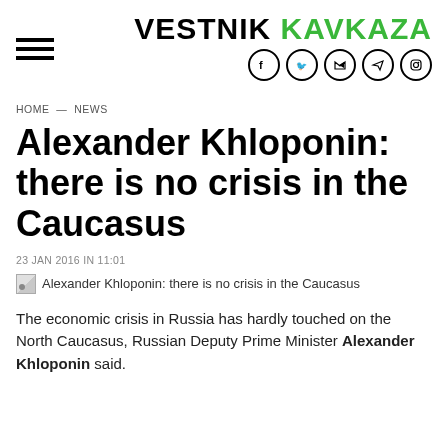VESTNIK KAVKAZA
HOME — NEWS
Alexander Khloponin: there is no crisis in the Caucasus
23 JAN 2016 IN 11:01
[Figure (photo): Thumbnail image placeholder for article photo with caption: Alexander Khloponin: there is no crisis in the Caucasus]
The economic crisis in Russia has hardly touched on the North Caucasus, Russian Deputy Prime Minister Alexander Khloponin said.